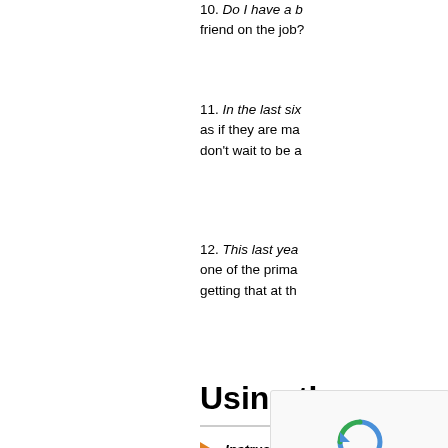10. Do I have a best friend on the job?
11. In the last six... as if they are making... don't wait to be a...
12. This last year... one of the prima... getting that at th...
Using the
Instructions... workplace s...